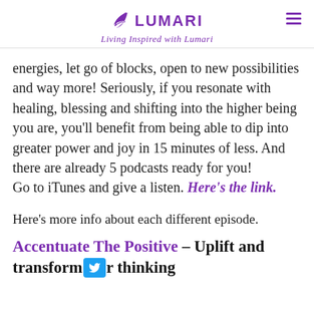Lumari — Living Inspired with Lumari
energies, let go of blocks, open to new possibilities and way more! Seriously, if you resonate with healing, blessing and shifting into the higher being you are, you'll benefit from being able to dip into greater power and joy in 15 minutes of less. And there are already 5 podcasts ready for you! Go to iTunes and give a listen. Here's the link.
Here's more info about each different episode.
Accentuate The Positive – Uplift and transform [twitter] r thinking